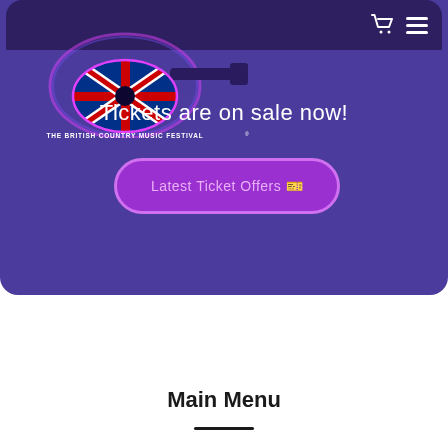[Figure (logo): The British Country Music Festival logo — a guitar shape filled with the UK Union Jack flag, surrounded by a neon pink/blue glowing outline, with text 'THE BRITISH COUNTRY MUSIC FESTIVAL' across the body of the guitar]
Tickets are on sale now!
Latest Ticket Offers 🎫
Main Menu